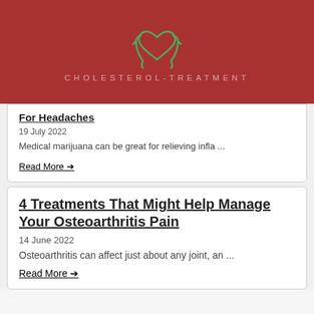[Figure (logo): Cholesterol-Treatment website logo with green heart-in-hands icon on dark red background and site name in spaced uppercase letters]
For Headaches
19 July 2022
Medical marijuana can be great for relieving infla ...
Read More →
4 Treatments That Might Help Manage Your Osteoarthritis Pain
14 June 2022
Osteoarthritis can affect just about any joint, an ...
Read More →